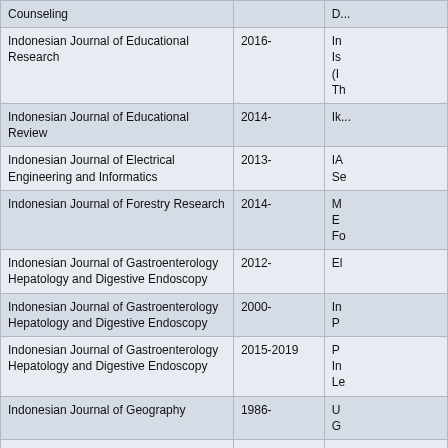| Journal Title | Year | Publisher/Info |
| --- | --- | --- |
| Counseling |  | D... |
| Indonesian Journal of Educational Research | 2016- | In... Is... (I... Th... |
| Indonesian Journal of Educational Review | 2014- | Ik... |
| Indonesian Journal of Electrical Engineering and Informatics | 2013- | IA... S... |
| Indonesian Journal of Forestry Research | 2014- | M... E... Fo... |
| Indonesian Journal of Gastroenterology Hepatology and Digestive Endoscopy | 2012- | El... |
| Indonesian Journal of Gastroenterology Hepatology and Digestive Endoscopy | 2000- | In... P... |
| Indonesian Journal of Gastroenterology Hepatology and Digestive Endoscopy | 2015-2019 | P... In... Le... |
| Indonesian Journal of Geography | 1986- | U... G... |
| Indonesian Journal of Geography | 2013- | P... In... Le... |
| Indonesian Journal of Geography | 2016- | El... |
| Indonesian Journal of Geoscience | 2014- | G... Ag... |
| Indonesian Journal of Geoscience | 2014- | El... |
| Indonesian Journal of Guidance and | 2012- | U... |